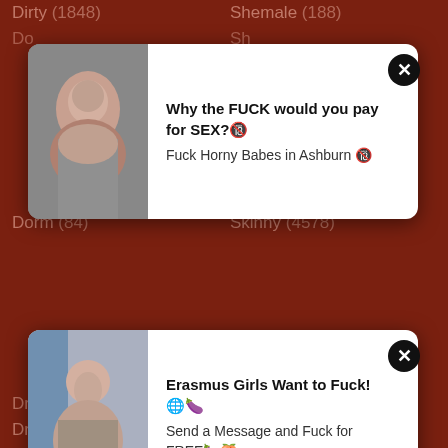Dirty (1848)
Shemale (188)
Do... (...)
Sh... (...)
[Figure (infographic): Ad card 1: photo of woman, text 'Why the FUCK would you pay for SEX? Fuck Horny Babes in Ashburn']
Dorm (84)
Skinny (4578)
[Figure (infographic): Ad card 2: photo of woman, text 'Erasmus Girls Want to Fuck! Send a Message and Fuck for FREE']
Drilled (391)
Slot (3431)
Drinking (90)
Small (8921)
Dutch (1618)
Smoking (346)
Ebony (5741)
Sofa (164)
Emo (381)
Softcore (749)
Erotic (785)
Solo (8875)
Escort (132)
Spanish (599)
European (4564)
Spanking (1132)
Exhibitionist (39)
Sperm (284)